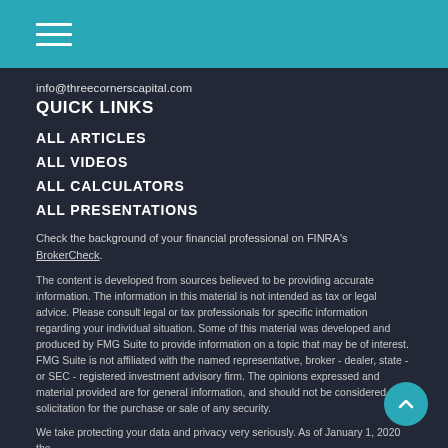Three Corners Capital navigation menu header with teal background
info@threecornerscapital.com
QUICK LINKS
ALL ARTICLES
ALL VIDEOS
ALL CALCULATORS
ALL PRESENTATIONS
Check the background of your financial professional on FINRA's BrokerCheck.
The content is developed from sources believed to be providing accurate information. The information in this material is not intended as tax or legal advice. Please consult legal or tax professionals for specific information regarding your individual situation. Some of this material was developed and produced by FMG Suite to provide information on a topic that may be of interest. FMG Suite is not affiliated with the named representative, broker - dealer, state - or SEC - registered investment advisory firm. The opinions expressed and material provided are for general information, and should not be considered a solicitation for the purchase or sale of any security.
We take protecting your data and privacy very seriously. As of January 1, 2020 the